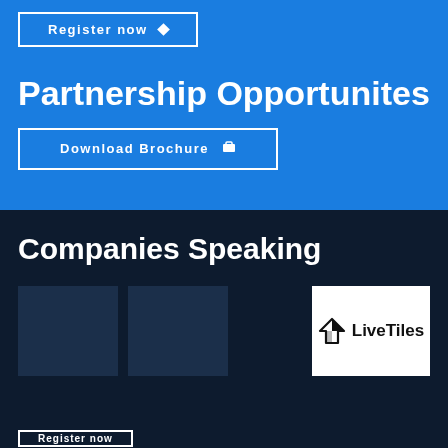Register now ♦
Partnership Opportunites
Download Brochure 🧳
Companies Speaking
[Figure (logo): LiveTiles company logo — white background with a black origami-style envelope/arrow icon and the text 'LiveTiles' in bold black sans-serif]